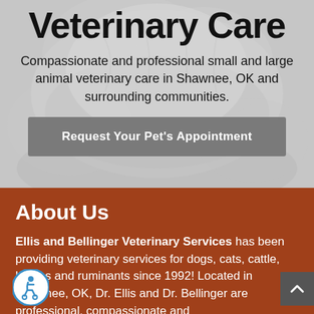Veterinary Care
Compassionate and professional small and large animal veterinary care in Shawnee, OK and surrounding communities.
Request Your Pet's Appointment
About Us
Ellis and Bellinger Veterinary Services has been providing veterinary services for dogs, cats, cattle, horses and ruminants since 1992! Located in Shawnee, OK, Dr. Ellis and Dr. Bellinger are professional, compassionate and